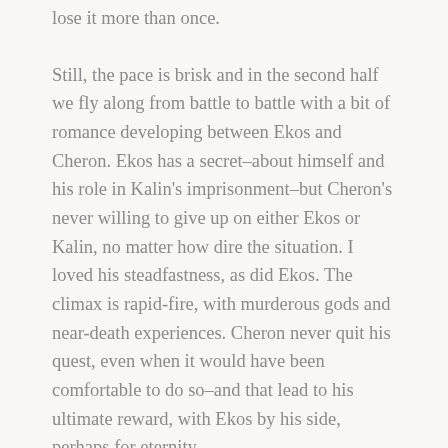lose it more than once.
Still, the pace is brisk and in the second half we fly along from battle to battle with a bit of romance developing between Ekos and Cheron. Ekos has a secret–about himself and his role in Kalin's imprisonment–but Cheron's never willing to give up on either Ekos or Kalin, no matter how dire the situation. I loved his steadfastness, as did Ekos. The climax is rapid-fire, with murderous gods and near-death experiences. Cheron never quit his quest, even when it would have been comfortable to do so–and that lead to his ultimate reward, with Ekos by his side, perhaps for eternity.
There's a little bit of sexytimes, and a lot of magic, of good and bad types. The followers of Atyx–